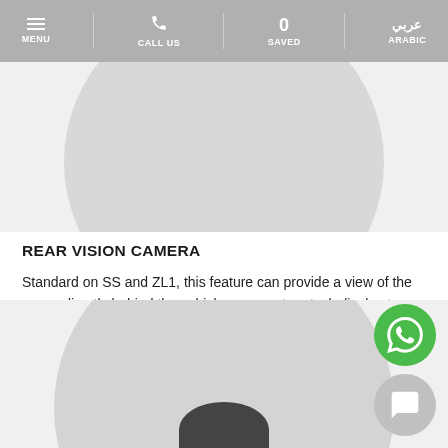MENU | CALL US | 0 SAVED | عربي ARABIC
[Figure (photo): Top portion of a circular grey graphic showing a vehicle camera feature, partially cropped at the top of the page.]
REAR VISION CAMERA
Standard on SS and ZL1, this feature can provide a view of the scene directly behind the vehicle on a center-stack display to help the driver park and avoid nearby objects during low-speed maneuvering.
[Figure (photo): Bottom portion of a circular grey graphic showing a vehicle rear camera view, with a dark element at the bottom center representing a car component. A green WhatsApp button and a grey chat button are overlaid on the right side.]